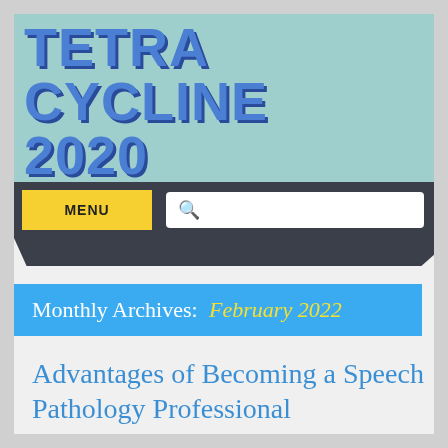TETRA CYCLINE 2020
MENU
Monthly Archives: February 2022
Advantages of Becoming a Speech Pathology Professional